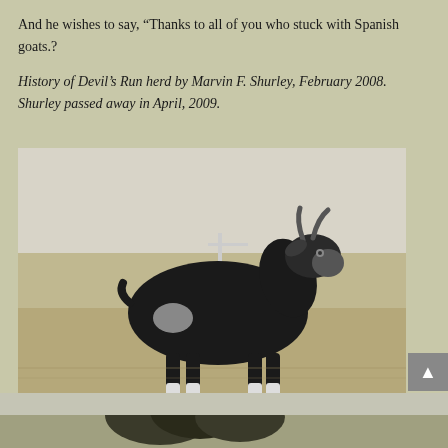And he wishes to say, “Thanks to all of you who stuck with Spanish goats.?
History of Devil’s Run herd by Marvin F. Shurley, February 2008. Shurley passed away in April, 2009.
[Figure (photo): A large black Spanish goat with white markings on legs and side, standing in a dry grassy field and facing the camera slightly to the right. The background shows sparse vegetation and a pale sky.]
[Figure (photo): Partial view of another outdoor scene, cropped at bottom of page, showing trees on a hillside.]